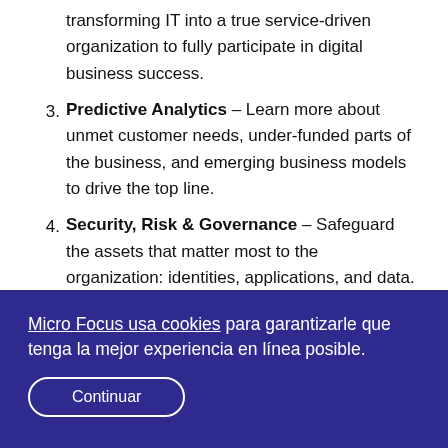transforming IT into a true service-driven organization to fully participate in digital business success.
3. Predictive Analytics – Learn more about unmet customer needs, under-funded parts of the business, and emerging business models to drive the top line.
4. Security, Risk & Governance – Safeguard the assets that matter most to the organization: identities, applications, and data. This is important all the time, but perhaps never more relevant than during a period of transition, when processes and technology are
Micro Focus usa cookies para garantizarle que tenga la mejor experiencia en línea posible.
Continuar